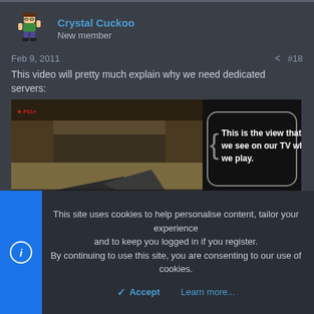Crystal Cuckoo
New member
Feb 9, 2011  #18
This video will pretty much explain why we need dedicated servers:
[Figure (screenshot): Video screenshot showing a first-person shooter game on the left half, and on the right half a black panel with white bold text: 'This is the view that we we see on our TV when we play.' Bottom portion shows another game screenshot on the right and a black caption bar on the left reading 'This is the same person']
This site uses cookies to help personalise content, tailor your experience and to keep you logged in if you register. By continuing to use this site, you are consenting to our use of cookies.
Accept
Learn more...